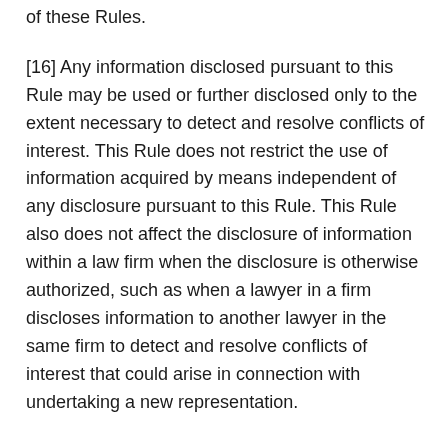of these Rules.
[16] Any information disclosed pursuant to this Rule may be used or further disclosed only to the extent necessary to detect and resolve conflicts of interest. This Rule does not restrict the use of information acquired by means independent of any disclosure pursuant to this Rule. This Rule also does not affect the disclosure of information within a law firm when the disclosure is otherwise authorized, such as when a lawyer in a firm discloses information to another lawyer in the same firm to detect and resolve conflicts of interest that could arise in connection with undertaking a new representation.
Disclosures Otherwise Required or Authorized